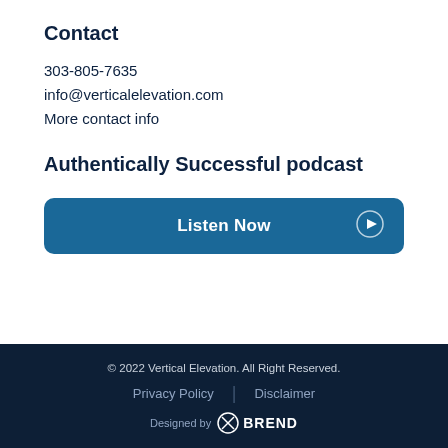Contact
303-805-7635
info@verticalelevation.com
More contact info
Authentically Successful podcast
[Figure (other): Blue button with text 'Listen Now' and a play icon circle on the right]
© 2022 Vertical Elevation. All Right Reserved.
Privacy Policy | Disclaimer
Designed by BREND